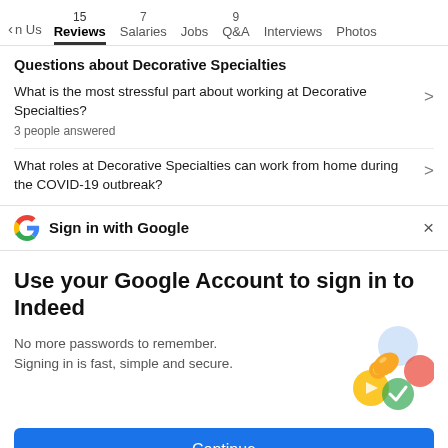n Us  15 Reviews  7 Salaries  Jobs  9 Q&A  Interviews  Photos
Questions about Decorative Specialties
What is the most stressful part about working at Decorative Specialties?
3 people answered
What roles at Decorative Specialties can work from home during the COVID-19 outbreak?
Sign in with Google
Use your Google Account to sign in to Indeed
No more passwords to remember.
Signing in is fast, simple and secure.
[Figure (illustration): Google sign-in illustration with a golden key and colorful circles]
Continue